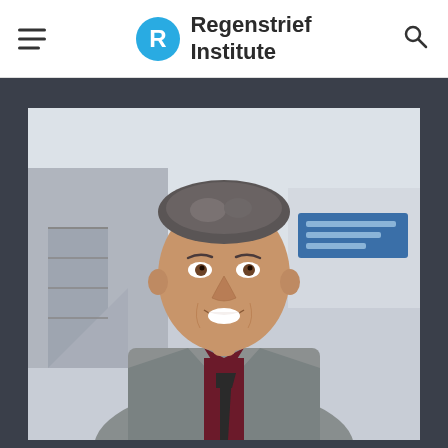Regenstrief Institute
[Figure (photo): Professional headshot of a middle-aged man with salt-and-pepper hair, smiling, wearing a gray houndstooth blazer, dark maroon shirt, and dark tie. Background shows a blurred indoor staircase and blue sign on the right side.]